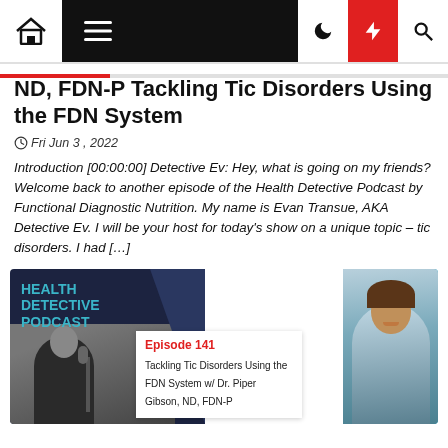Navigation bar with home, menu, dark mode, lightning, and search icons
ND, FDN-P Tackling Tic Disorders Using the FDN System
Fri Jun 3, 2022
Introduction [00:00:00] Detective Ev: Hey, what is going on my friends? Welcome back to another episode of the Health Detective Podcast by Functional Diagnostic Nutrition. My name is Evan Transue, AKA Detective Ev. I will be your host for today's show on a unique topic – tic disorders. I had […]
[Figure (photo): Health Detective Podcast thumbnail image. Episode 141: Tackling Tic Disorders Using the FDN System w/ Dr. Piper Gibson, ND, FDN-P. Shows podcast branding on dark background on left, episode card in middle, and photo of a smiling woman on teal background on right.]